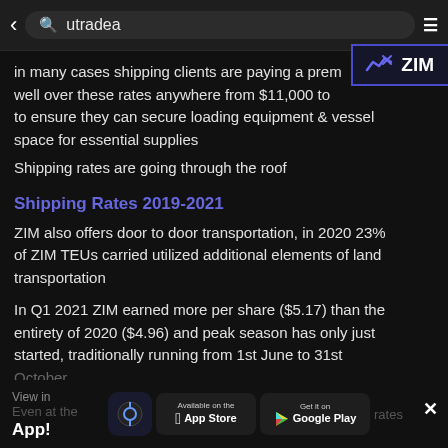utradea
in many cases shipping clients are paying a prem well over these rates anywhere from $11,000 to to ensure they can secure loading equipment & vessel space for essential supplies
Shipping rates are going through the roof
Shipping Rates 2019-2021
ZIM also offers door to door transportation, in 2020 23% of ZIM TEUs carried utilized additional elements of land transportation
In Q1 2021 ZIM earned more per share ($5.17) than the entirety of 2020 ($4.96) and peak season has only just started, traditionally running from 1st June to 31st October.
View in App! Even at the Q1 shipping rates, it would be market for | Available on the App Store | Get it on Google Play